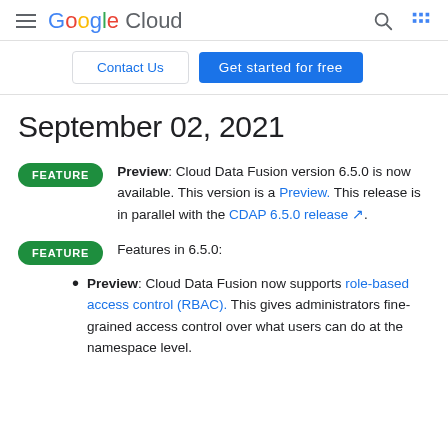Google Cloud
Contact Us | Get started for free
September 02, 2021
FEATURE: Preview: Cloud Data Fusion version 6.5.0 is now available. This version is a Preview. This release is in parallel with the CDAP 6.5.0 release.
FEATURE: Features in 6.5.0:
Preview: Cloud Data Fusion now supports role-based access control (RBAC). This gives administrators fine-grained access control over what users can do at the namespace level.